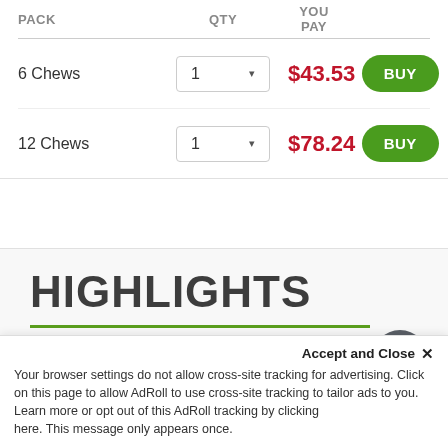| PACK | QTY | YOU PAY |  |
| --- | --- | --- | --- |
| 6 Chews | 1 | $43.53 | BUY |
| 12 Chews | 1 | $78.24 | BUY |
HIGHLIGHTS
#1 vet's choice for heartworm prevention
controls and protects heartworm disease
Accept and Close ×
Your browser settings do not allow cross-site tracking for advertising. Click on this page to allow AdRoll to use cross-site tracking to tailor ads to you. Learn more or opt out of this AdRoll tracking by clicking here. This message only appears once.